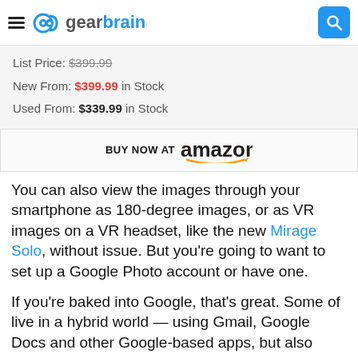gearbrain
List Price: $399.99
New From: $399.99 in Stock
Used From: $339.99 in Stock
[Figure (other): BUY NOW AT amazon button with Amazon logo and smile arrow]
You can also view the images through your smartphone as 180-degree images, or as VR images on a VR headset, like the new Mirage Solo, without issue. But you're going to want to set up a Google Photo account or have one.
If you're baked into Google, that's great. Some of live in a hybrid world — using Gmail, Google Docs and other Google-based apps, but also have another foot in the Apple world, using photos or calendar f